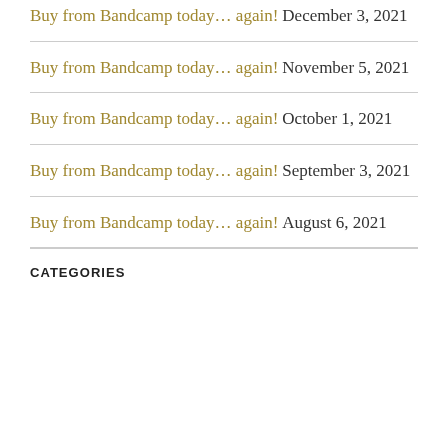Buy from Bandcamp today… again! December 3, 2021
Buy from Bandcamp today… again! November 5, 2021
Buy from Bandcamp today… again! October 1, 2021
Buy from Bandcamp today… again! September 3, 2021
Buy from Bandcamp today… again! August 6, 2021
CATEGORIES